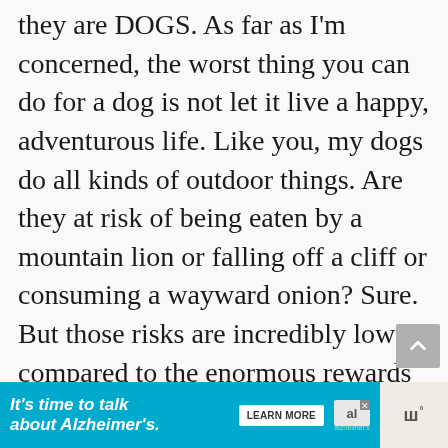they are DOGS. As far as I'm concerned, the worst thing you can do for a dog is not let it live a happy, adventurous life. Like you, my dogs do all kinds of outdoor things. Are they at risk of being eaten by a mountain lion or falling off a cliff or consuming a wayward onion? Sure. But those risks are incredibly low compared to the enormous rewards of getting to live awesome, active lives. We
[Figure (screenshot): Advertisement banner: teal/cyan background with italic white bold text 'It's time to talk about Alzheimer's.' with a Learn More button and Alzheimer's Association logo]